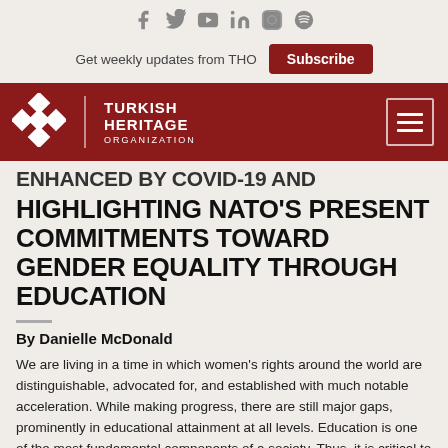[Figure (other): Social media icons row: Facebook, Twitter, YouTube, LinkedIn, Instagram, Spotify]
Get weekly updates from THO  Subscribe
[Figure (logo): Turkish Heritage Organization logo: diamond pattern and text on dark red navbar with hamburger menu icon]
HIGHLIGHTING NATO'S PRESENT COMMITMENTS TOWARD GENDER EQUALITY THROUGH EDUCATION
By Danielle McDonald
We are living in a time in which women's rights around the world are distinguishable, advocated for, and established with much notable acceleration. While making progress, there are still major gaps, prominently in educational attainment at all levels. Education is one of the most fundamental components of a society. Thus, it is critical to ensure that future generations of females have equal access to education.